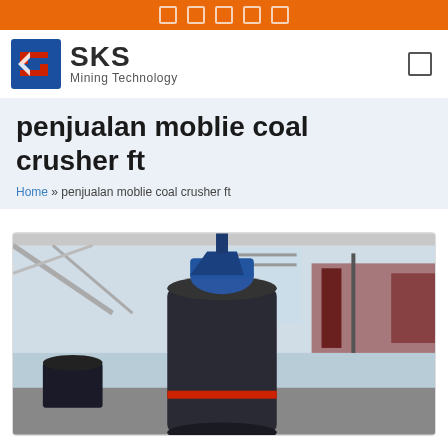SKS Mining Technology
penjualan moblie coal crusher ft
Home » penjualan moblie coal crusher ft
[Figure (photo): Industrial coal crusher machine inside a large factory/warehouse building with steel roof structure. A large black cylindrical crusher machine with a blue top component and red accent is the central subject, photographed from below looking up inside a steel-framed industrial building.]